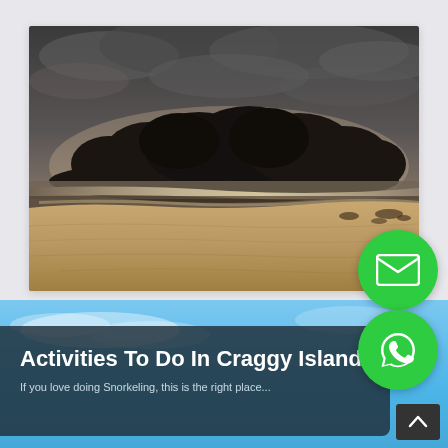[Figure (photo): Dark moody beach scene with silhouette of a forested island in the background, sandy foreground with shallow water reflecting light, overcast sky with dramatic clouds]
[Figure (illustration): Green circular button with white envelope/mail icon]
[Figure (photo): Blue sky background for the lower article card section]
[Figure (illustration): Green circular button with white WhatsApp phone icon]
Activities To Do In Craggy Island
If you love doing Snorkeling, this is the right place...